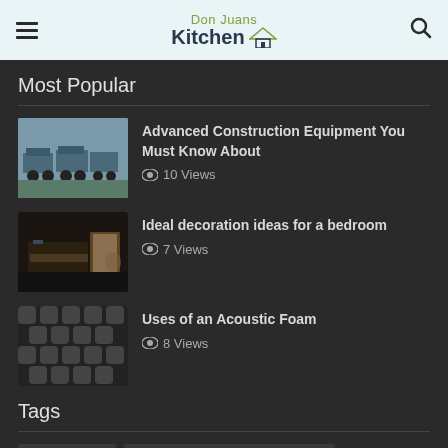Don Juans Kitchen
Most Popular
Advanced Construction Equipment You Must Know About — 10 Views
Ideal decoration ideas for a bedroom — 7 Views
Uses of an Acoustic Foam — 8 Views
Tags
ARBOR Hole.
Available on Online miter saw tools
Best Boiler Installation Company